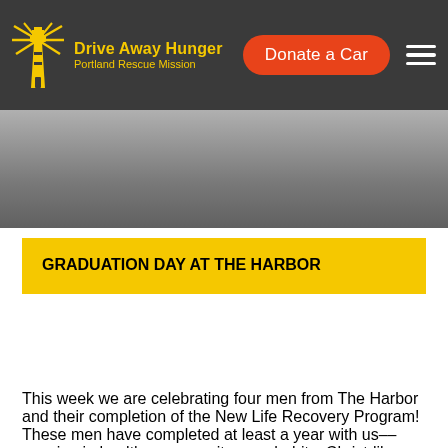Drive Away Hunger Portland Rescue Mission | Donate a Car
[Figure (screenshot): Website header screenshot showing Drive Away Hunger Portland Rescue Mission logo with lighthouse icon, orange Donate a Car button, and hamburger menu on dark background]
GRADUATION DAY AT THE HARBOR
This week we are celebrating four men from The Harbor and their completion of the New Life Recovery Program! These men have completed at least a year with us––growing in healthy community, new habits, Christ-like character and life skills.  A couple of them